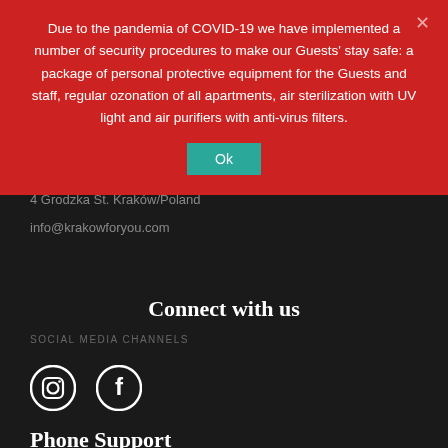Due to the pandemia of COVID-19 we have implemented a number of security procedures to make our Guests' stay safe: a package of personal protective equipment for the Guests and staff, regular ozonation of all apartments, air sterilization with UV light and air purifiers with anti-virus filters.
Ok
4 Grodzka St. Kraków/Poland
info@krakowforyou.com
Connect with us
SOCIAL MEDIA CHANNELS
[Figure (illustration): Instagram and Facebook social media icons in white on dark background]
Phone Support